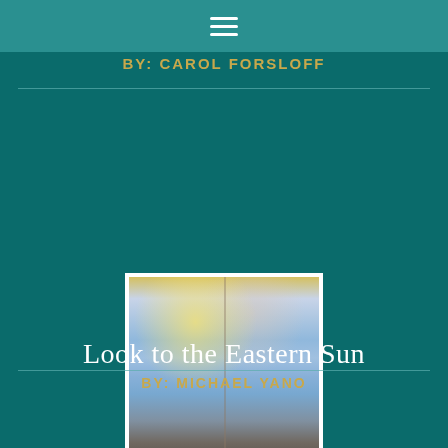BY: CAROL FORSLOFF
[Figure (illustration): A painting of a sky scene with blue clouds and a warm sun, shown as a two-panel diptych painting with soft impressionistic style.]
Look to the Eastern Sun
BY: MICHAEL YANO